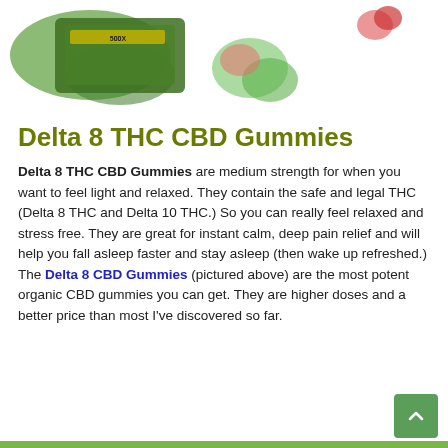[Figure (photo): Product photo of Delta 8 THC CBD Gummies packaging and gummy candies on white background]
Delta 8 THC CBD Gummies
Delta 8 THC CBD Gummies are medium strength for when you want to feel light and relaxed. They contain the safe and legal THC (Delta 8 THC and Delta 10 THC.) So you can really feel relaxed and stress free. They are great for instant calm, deep pain relief and will help you fall asleep faster and stay asleep (then wake up refreshed.) The Delta 8 CBD Gummies (pictured above) are the most potent organic CBD gummies you can get. They are higher doses and a better price than most I've discovered so far.